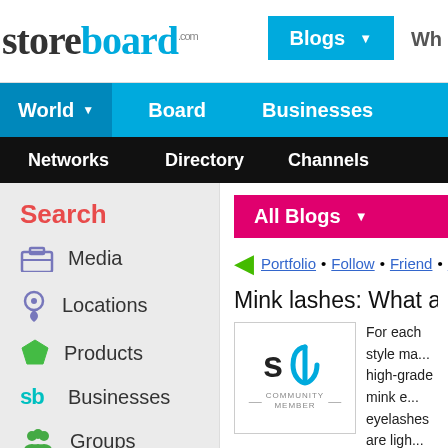storeboard.com — Blogs navigation header
[Figure (logo): Storeboard.com logo with 'storeboard' in dark and cyan text and '.com' superscript]
Blogs (dropdown button)
World ▼ | Board | Businesses (blue navigation bar)
Networks | Directory | Channels (black navigation bar)
Search
Media
Locations
Products
Businesses
Groups
All Blogs (dropdown)
Portfolio • Follow • Friend • Sh...
Mink lashes: What are th...
[Figure (logo): Storeboard community member logo — 'sb' in teal/black with 'COMMUNITY MEMBER' text]
For each style ma... high-grade mink e... eyelashes are ligh... of your eyes, mak... longer and darken... will be done.